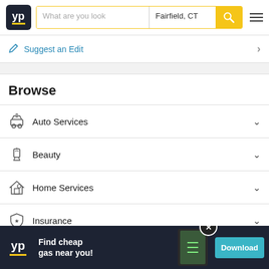YP | What are you looking for | Fairfield, CT
Suggest an Edit
Browse
Auto Services
Beauty
Home Services
Insurance
Legal Services
M...
[Figure (screenshot): YP app advertisement banner: Find cheap gas near you! Download button]